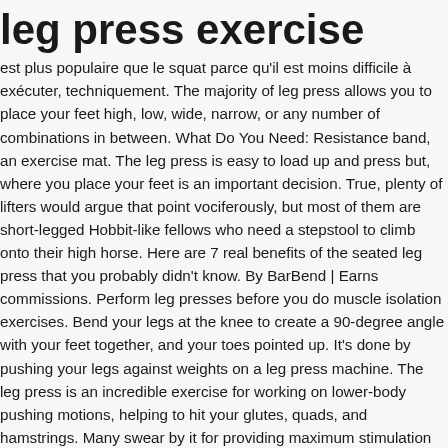leg press exercise
est plus populaire que le squat parce qu'il est moins difficile à exécuter, techniquement. The majority of leg press allows you to place your feet high, low, wide, narrow, or any number of combinations in between. What Do You Need: Resistance band, an exercise mat. The leg press is easy to load up and press but, where you place your feet is an important decision. True, plenty of lifters would argue that point vociferously, but most of them are short-legged Hobbit-like fellows who need a stepstool to climb onto their high horse. Here are 7 real benefits of the seated leg press that you probably didn't know. By BarBend | Earns commissions. Perform leg presses before you do muscle isolation exercises. Bend your legs at the knee to create a 90-degree angle with your feet together, and your toes pointed up. It's done by pushing your legs against weights on a leg press machine. The leg press is an incredible exercise for working on lower-body pushing motions, helping to hit your glutes, quads, and hamstrings. Many swear by it for providing maximum stimulation to the glutes, hamstrings, and quads despite a short range of motion. Leg press exercise. With so many exercises available on the leg press hip sled, you can push 1000 lbs on your legs, glutes and calves to get ready for your next bodybuilding show (or maybe just your next